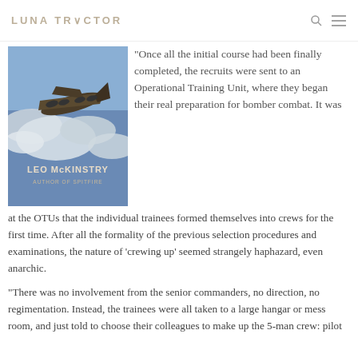LUNA TRACTOR
[Figure (illustration): Book cover of a WWII bomber book by Leo McKinstry, Author of Spitfire, showing a bomber aircraft flying against a blue sky with clouds, in a poster art style.]
“Once all the initial course had been finally completed, the recruits were sent to an Operational Training Unit, where they began their real preparation for bomber combat. It was at the OTUs that the individual trainees formed themselves into crews for the first time. After all the formality of the previous selection procedures and examinations, the nature of ‘crewing up’ seemed strangely haphazard, even anarchic.
“There was no involvement from the senior commanders, no direction, no regimentation. Instead, the trainees were all taken to a large hangar or mess room, and just told to choose their colleagues to make up the 5-man crew: pilot